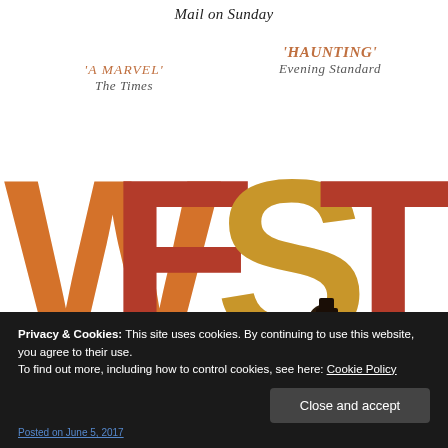Mail on Sunday
'A MARVEL' The Times
'HAUNTING' Evening Standard
[Figure (illustration): Book cover of 'WEST' by Carys Davies showing large colorful letters W-E-S-T in orange, red and gold, with a dark silhouette of a figure with a horse]
CARYS DAVIES
Privacy & Cookies: This site uses cookies. By continuing to use this website, you agree to their use. To find out more, including how to control cookies, see here: Cookie Policy
Close and accept
Posted on June 5, 2017